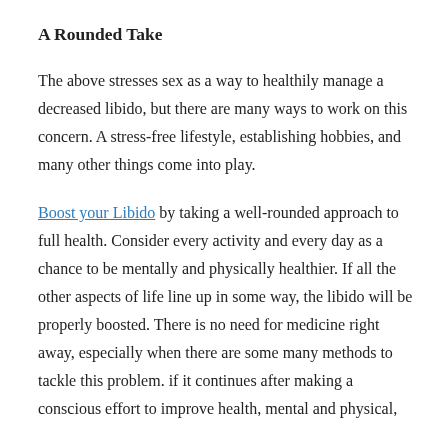A Rounded Take
The above stresses sex as a way to healthily manage a decreased libido, but there are many ways to work on this concern. A stress-free lifestyle, establishing hobbies, and many other things come into play.
Boost your Libido by taking a well-rounded approach to full health. Consider every activity and every day as a chance to be mentally and physically healthier. If all the other aspects of life line up in some way, the libido will be properly boosted. There is no need for medicine right away, especially when there are some many methods to tackle this problem. if it continues after making a conscious effort to improve health, mental and physical,